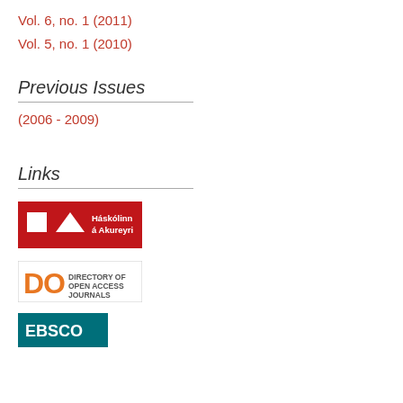Vol. 6, no. 1 (2011)
Vol. 5, no. 1 (2010)
Previous Issues
(2006 - 2009)
Links
[Figure (logo): Háskólinn á Akureyri — red background logo with white geometric shapes and white text]
[Figure (logo): DOAJ — Directory of Open Access Journals logo with orange D and O letters]
[Figure (logo): EBSCO logo — teal/dark blue background with white EBSCO text, partially visible]